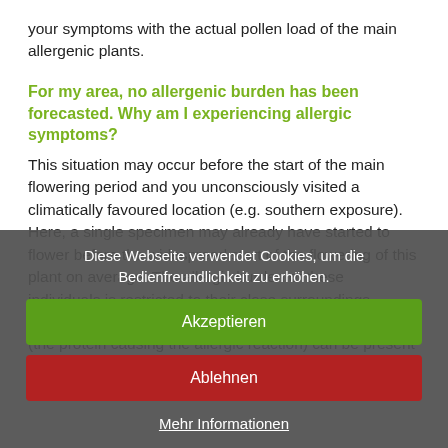your symptoms with the actual pollen load of the main allergenic plants.
For my area, no allergenic burden has been forecasted. Why am I experiencing allergic symptoms?
This situation may occur before the start of the main flowering period and you unconsciously visited a climatically favoured location (e.g. southern exposure). Here, a single specimen may already have started to flower before the widespread start of the flowering of this plant on average. The allergic burden of these individuals is restricted to their close surroundings. Furthermore, it has been discovered that the allergen (the protein causing the allergic reaction) can be present in the air even before the flowering and the pollen release has started. Highly sensitive pollen allergy
Diese Webseite verwendet Cookies, um die Bedienfreundlichkeit zu erhöhen.
Akzeptieren
Ablehnen
Mehr Informationen